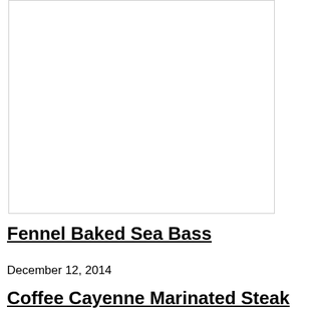[Figure (other): White/blank image placeholder with a thin border]
Fennel Baked Sea Bass
December 12, 2014
Coffee Cayenne Marinated Steak